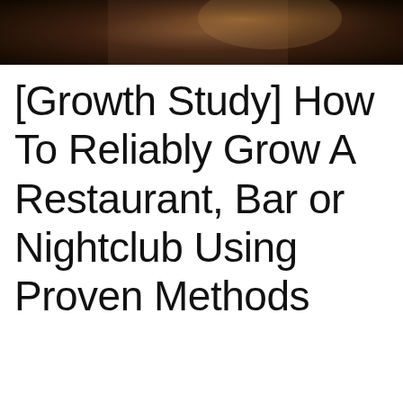[Figure (photo): Dark atmospheric photo of a restaurant or bar scene, partially cropped at the top of the page]
[Growth Study] How To Reliably Grow A Restaurant, Bar or Nightclub Using Proven Methods